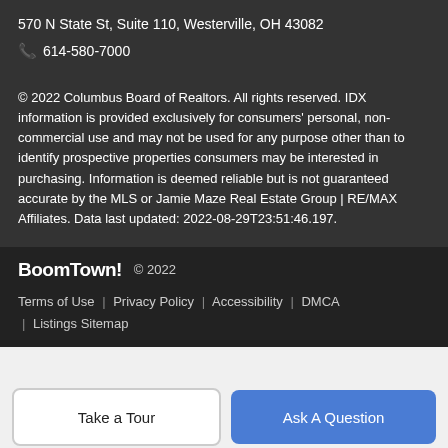570 N State St, Suite 110, Westerville, OH 43082
📞 614-580-7000
© 2022 Columbus Board of Realtors. All rights reserved. IDX information is provided exclusively for consumers' personal, non-commercial use and may not be used for any purpose other than to identify prospective properties consumers may be interested in purchasing. Information is deemed reliable but is not guaranteed accurate by the MLS or Jamie Maze Real Estate Group | RE/MAX Affiliates. Data last updated: 2022-08-29T23:51:46.197.
BoomTown! © 2022 | Terms of Use | Privacy Policy | Accessibility | DMCA | Listings Sitemap
Take a Tour
Ask A Question